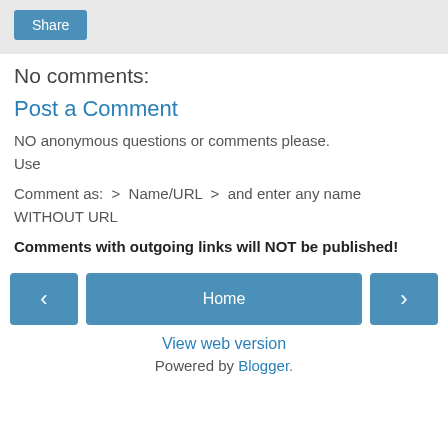[Figure (screenshot): Share button on grey background bar]
No comments:
Post a Comment
NO anonymous questions or comments please. Use
Comment as:  >  Name/URL  >  and enter any name WITHOUT URL
Comments with outgoing links will NOT be published!
[Figure (screenshot): Navigation bar with left arrow button, Home button, and right arrow button]
View web version
Powered by Blogger.